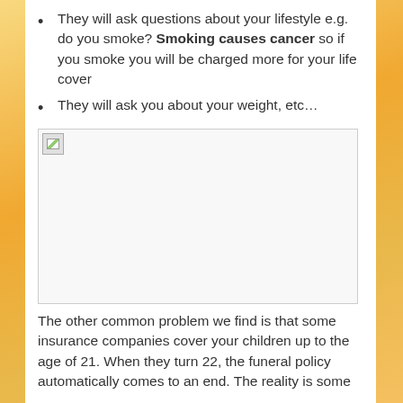They will ask questions about your lifestyle e.g. do you smoke? Smoking causes cancer so if you smoke you will be charged more for your life cover
They will ask you about your weight, etc...
[Figure (photo): A broken/missing image placeholder shown as a white rectangle with a small broken image icon in the top-left corner]
The other common problem we find is that some insurance companies cover your children up to the age of 21. When they turn 22, the funeral policy automatically comes to an end. The reality is some